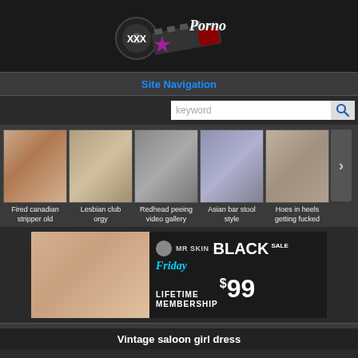[Figure (logo): XXX Porno website logo with film reel and star graphic on dark background]
Site Navigation
[Figure (screenshot): Keyword search input box with search icon]
[Figure (photo): Row of five adult content thumbnail images with next arrow button]
Fired canadian stripper old
Lesbian club orgy
Redhead peeing video gallery
Asian bar stool style
Hoes in heels getting fucked
[Figure (photo): Mr Skin Black Friday Sale advertisement: Lifetime Membership $99]
Vintage saloon girl dress